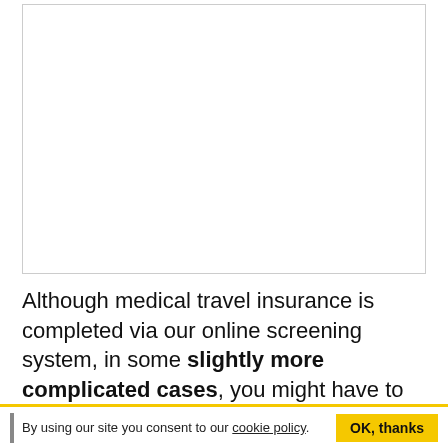[Figure (other): Empty white box with thin border, representing a content/image placeholder area]
Although medical travel insurance is completed via our online screening system, in some slightly more complicated cases, you might have to declare your condition over the phone to one of our brilliant insurance specialists.
By using our site you consent to our cookie policy. OK, thanks